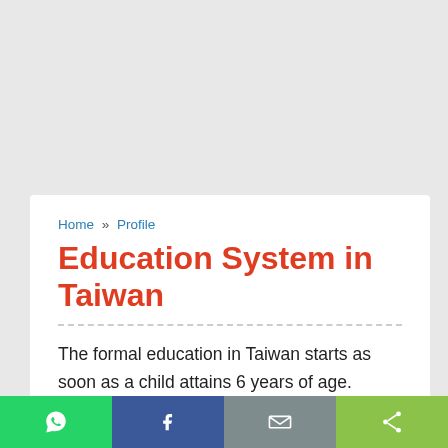Home » Profile
Education System in Taiwan
The formal education in Taiwan starts as soon as a child attains 6 years of age. Education is available starting from Pre Primary to Higher Education and Research. Pre-primary education is not compulsory, however, children starts attending pre-school classes starting from age of 3 years. Duration of elementary education in Taiwan is 6